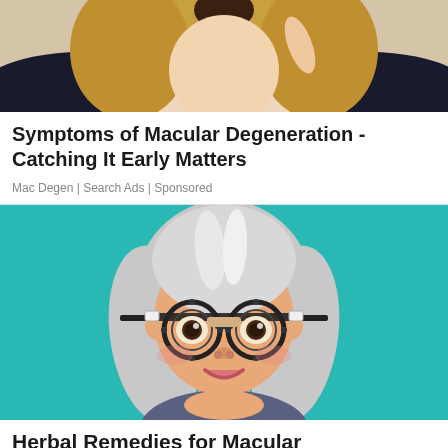[Figure (photo): Partial photo of a woman with blonde hair, cropped showing face/neck area, wearing dark clothing]
Symptoms of Macular Degeneration - Catching It Early Matters
Mac Degen | Search Ads | Sponsored
[Figure (illustration): Cartoon illustration of an elderly woman with white/grey bob haircut wearing a trial frame (optometry testing glasses) on a teal/turquoise background]
Herbal Remedies for Macular Degeneration